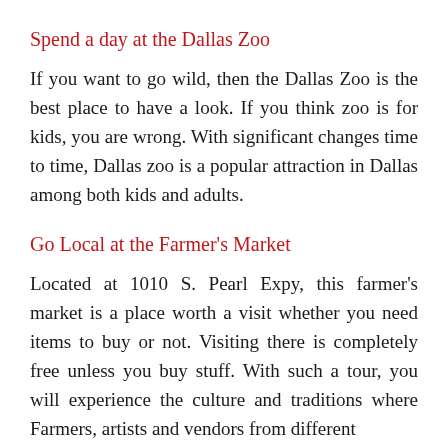Spend a day at the Dallas Zoo
If you want to go wild, then the Dallas Zoo is the best place to have a look. If you think zoo is for kids, you are wrong. With significant changes time to time, Dallas zoo is a popular attraction in Dallas among both kids and adults.
Go Local at the Farmer's Market
Located at 1010 S. Pearl Expy, this farmer's market is a place worth a visit whether you need items to buy or not. Visiting there is completely free unless you buy stuff. With such a tour, you will experience the culture and traditions where Farmers, artists and vendors from different